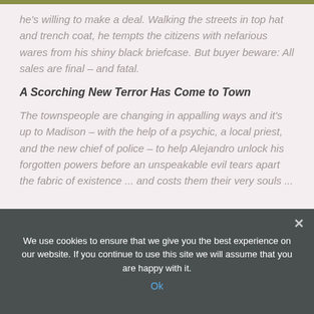he's willing to make a deal. Walking the streets in top hat and trench coat, he tempts the citizens with nefarious wares from his shiny black briefcase. But buyer beware: All sales are final – and fatal.
A Scorching New Terror Has Come to Town
The townspeople are changing in appalling ways and it's up to Madison – with the help of a psychic, a local priest, and the new chief of police – to help Alejandro unlock his forgotten powers before an unspeakable evil tears apart the fabric of existence ... and costs them their very souls ...
We use cookies to ensure that we give you the best experience on our website. If you continue to use this site we will assume that you are happy with it.
Ok
'The Angel Alejandro' is written in the past tense and the